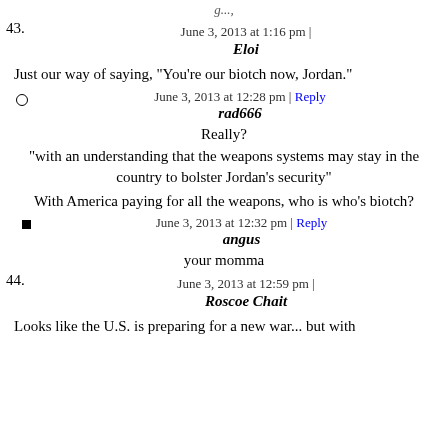g...
43. June 3, 2013 at 1:16 pm | Eloi
Just our way of saying, "You're our biotch now, Jordan."
o rad666 June 3, 2013 at 12:28 pm | Reply
Really?
"with an understanding that the weapons systems may stay in the country to bolster Jordan's security"
With America paying for all the weapons, who is who's biotch?
■ angus June 3, 2013 at 12:32 pm | Reply
your momma
44. June 3, 2013 at 12:59 pm | Roscoe Chait
Looks like the U.S. is preparing for a new war... but with